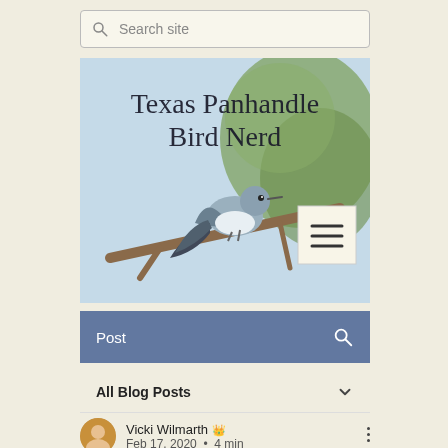Search site
[Figure (photo): A small grey bird (Blue-grey Gnatcatcher) perched on a bare branch with blurred green foliage in background. Text overlay reads 'Texas Panhandle Bird Nerd'. A hamburger menu icon appears in bottom-right corner of the image.]
Post
All Blog Posts
Vicki Wilmarth
Feb 17, 2020  •  4 min